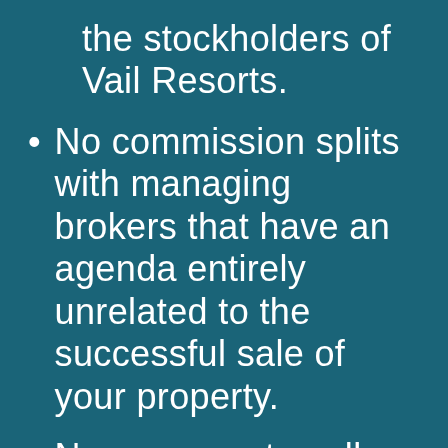the stockholders of Vail Resorts.
No commission splits with managing brokers that have an agenda entirely unrelated to the successful sale of your property.
No pressure to sell corporate-owned